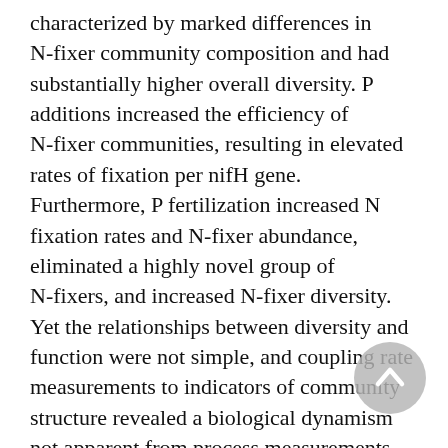characterized by marked differences in N-fixer community composition and had substantially higher overall diversity. P additions increased the efficiency of N-fixer communities, resulting in elevated rates of fixation per nifH gene. Furthermore, P fertilization increased N fixation rates and N-fixer abundance, eliminated a highly novel group of N-fixers, and increased N-fixer diversity. Yet the relationships between diversity and function were not simple, and coupling rate measurements to indicators of community structure revealed a biological dynamism not apparent from process measurements alone. Taken together, these data suggest that the rain forest litter layer maintains high N fixation rates and unique N-fixing organisms and that, as observed in plant community ecology, structural shifts in N-fixing communities may